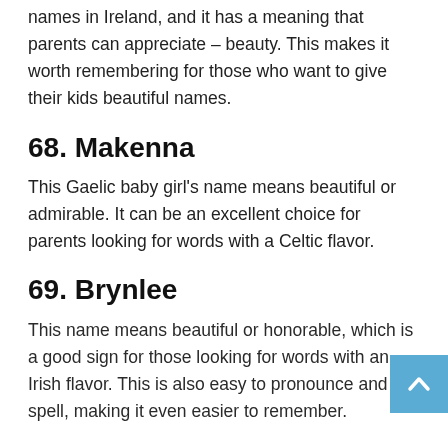names in Ireland, and it has a meaning that parents can appreciate – beauty. This makes it worth remembering for those who want to give their kids beautiful names.
68. Makenna
This Gaelic baby girl's name means beautiful or admirable. It can be an excellent choice for parents looking for words with a Celtic flavor.
69. Brynlee
This name means beautiful or honorable, which is a good sign for those looking for words with an Irish flavor. This is also easy to pronounce and spell, making it even easier to remember.